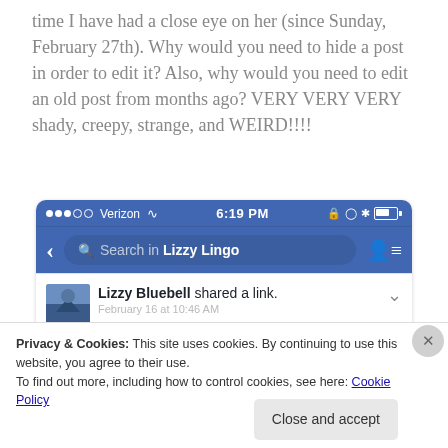time I have had a close eye on her (since Sunday, February 27th). Why would you need to hide a post in order to edit it? Also, why would you need to edit an old post from months ago? VERY VERY VERY shady, creepy, strange, and WEIRD!!!!
[Figure (screenshot): Mobile Facebook app screenshot showing status bar with Verizon carrier, 6:19 PM time, and navigation bar with 'Search in Lizzy Lingo' search field. Below is a post by Lizzy Bluebell showing 'shared a link.' with date February 16 at 10:46 AM. A cookie consent banner overlays the bottom portion reading 'Privacy & Cookies: This site uses cookies. By continuing to use this website, you agree to their use. To find out more, including how to control cookies, see here: Cookie Policy' with a 'Close and accept' button.]